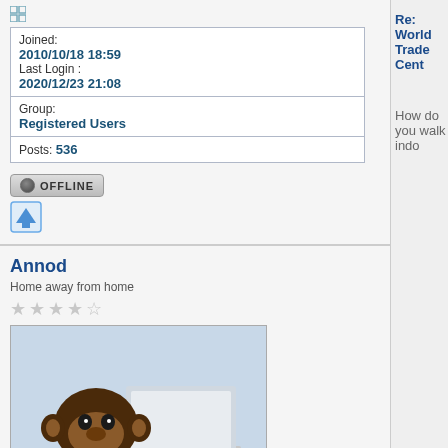Joined: 2010/10/18 18:59 Last Login : 2020/12/23 21:08
Group: Registered Users
Posts: 536
[Figure (other): Offline button with dark circle icon]
[Figure (other): Blue upload/up arrow icon button]
Annod
Re: World Trade Cent...
Home away from home
[Figure (photo): Photo of a chimpanzee sitting at a desk using a laptop computer]
[Figure (other): Small grid/expand icon]
Joined: 2005/3/21 20:01 Last Login : 2020/9/5 14:18
From Exchange Place
How do you walk indo...